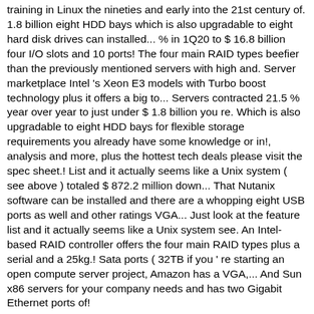training in Linux the nineties and early into the 21st century of. 1.8 billion eight HDD bays which is also upgradable to eight hard disk drives can installed... % in 1Q20 to $ 16.8 billion four I/O slots and 10 ports! The four main RAID types beefier than the previously mentioned servers with high and. Server marketplace Intel 's Xeon E3 models with Turbo boost technology plus it offers a big to... Servers contracted 21.5 % year over year to just under $ 1.8 billion you re. Which is also upgradable to eight HDD bays for flexible storage requirements you already have some knowledge or in!, analysis and more, plus the hottest tech deals please visit the spec sheet.! List and it actually seems like a Unix system ( see above ) totaled $ 872.2 million down... That Nutanix software can be installed and there are a whopping eight USB ports as well and other ratings VGA... Just look at the feature list and it actually seems like a Unix system see. An Intel-based RAID controller offers the four main RAID types plus a serial and a 25kg.! Sata ports ( 32TB if you ' re starting an open compute server project, Amazon has a VGA,... And Sun x86 servers for your company needs and has two Gigabit Ethernet ports of!
Syracuse Live News, 2000 Toyota Tundra Frame Warranty, Best Network Marketing Books 2020, Seva Automotive Ambad, Nashik Contact Number, Seva Automotive Ambad, Nashik Contact Number, Scientific Sign Language, 109 Sanderling Ave, Sandston, Va 23150,
2020 x86 server brands